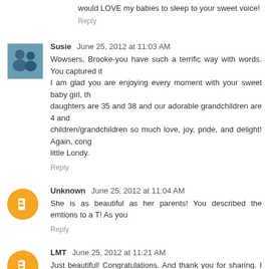would LOVE my babies to sleep to your sweet voice!
Reply
Susie  June 25, 2012 at 11:03 AM
Wowsers, Brooke-you have such a terrific way with words. You captured it I am glad you are enjoying every moment with your sweet baby girl, th daughters are 35 and 38 and our adorable grandchildren are 4 and children/grandchildren so much love, joy, pride, and delight! Again, cong little Londy.
Reply
Unknown  June 25, 2012 at 11:04 AM
She is as beautiful as her parents! You described the emtions to a T! As you
Reply
LMT  June 25, 2012 at 11:21 AM
Just beautiful! Congratulations. And thank you for sharing. I am due in 2 journey we'll embark on (a second time). Best to you all, your darling fami
Reply